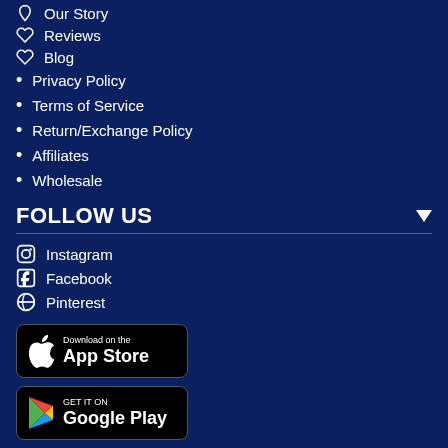Our Story
Reviews
Blog
Privacy Policy
Terms of Service
Return/Exchange Policy
Affiliates
Wholesale
FOLLOW US
Instagram
Facebook
Pinterest
[Figure (other): Download on the App Store badge]
[Figure (other): Get it on Google Play badge]